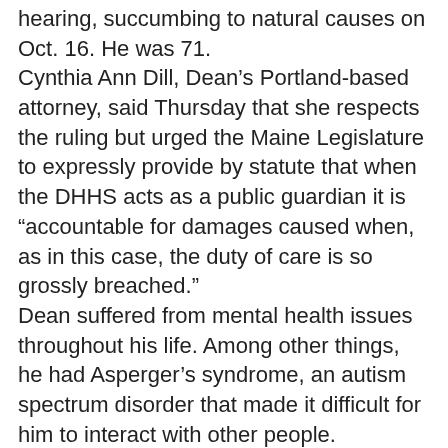hearing, succumbing to natural causes on Oct. 16. He was 71.
Cynthia Ann Dill, Dean's Portland-based attorney, said Thursday that she respects the ruling but urged the Maine Legislature to expressly provide by statute that when the DHHS acts as a public guardian it is “accountable for damages caused when, as in this case, the duty of care is so grossly breached.”
Dean suffered from mental health issues throughout his life. Among other things, he had Asperger’s syndrome, an autism spectrum disorder that made it difficult for him to interact with other people.
He also was a musical savant. He never had a music lesson but was able to play a song if he had heard it once. His musical instrument of choice was the organ.
After his mother died, Dean had a mental health crisis and was admitted to the Dorothea Dix Psychiatric Center in Bangor in May 2012.
The Maine Department of Health and Human Services filed a motion on Sept. 5, 2012, in probate court seeking to be named his conservator and guardian. The state said that he was not competent to manage his properties, and that bills